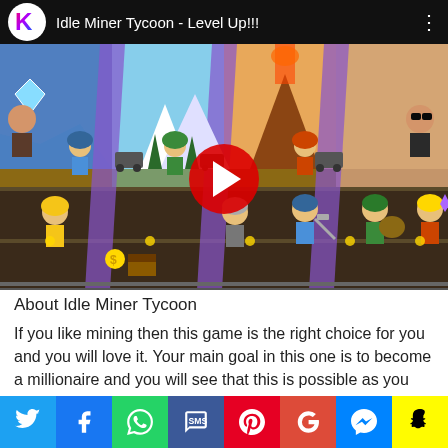[Figure (screenshot): YouTube-style video thumbnail for 'Idle Miner Tycoon - Level Up!!!' showing a mobile game with cartoon miners in various mine environments. Has a channel logo (K), video title, play button, and three-dot menu.]
About Idle Miner Tycoon
If you like mining then this game is the right choice for you and you will love it. Your main goal in this one is to become a millionaire and you will see that this is possible as you
[Figure (infographic): Social media sharing bar with icons for Twitter, Facebook, WhatsApp, SMS, Pinterest, Google, Messenger, and Snapchat]